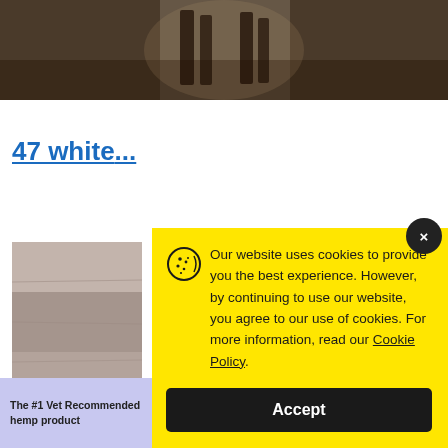[Figure (photo): Dark photograph of horses in a barn/stable corridor, viewed from below, showing legs and hooves with light coming from behind]
47 white...
[Figure (photo): Article thumbnail image showing a wooden surface or floor, grayish-brown tones]
Our website uses cookies to provide you the best experience. However, by continuing to use our website, you agree to our use of cookies. For more information, read our Cookie Policy.
Accept
[Figure (infographic): Advertisement banner: The #1 vet recommended hemp product | 20% OFF NOW! Code: PET20 | ElleVet Sciences logo]